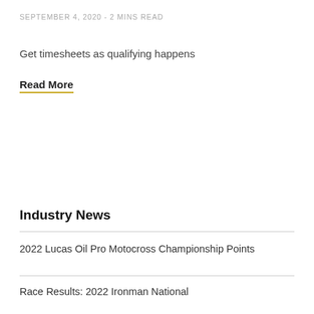SEPTEMBER 4, 2020 - 2 MINS READ
Get timesheets as qualifying happens
Read More
Industry News
2022 Lucas Oil Pro Motocross Championship Points
Race Results: 2022 Ironman National